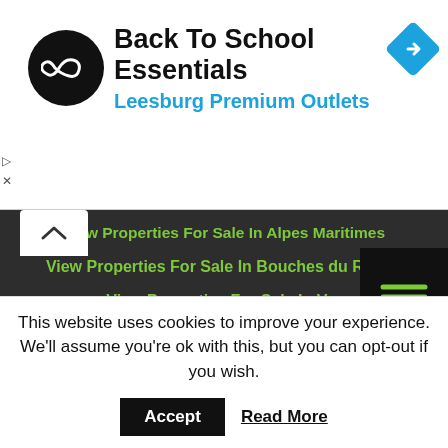[Figure (logo): Back To School Essentials ad banner with circular black logo with infinity-like symbol, blue diamond arrow icon, text 'Back To School Essentials' and 'Leesburg Premium Outlets' in blue]
View Properties For Sale In Alpes Maritimes
View Properties For Sale In Bouches du Rhône
View Properties For Sale In Var
View Properties For Sale In Vaucluse
About Us    Contact Us
This website uses cookies to improve your experience. We'll assume you're ok with this, but you can opt-out if you wish.
Accept    Read More